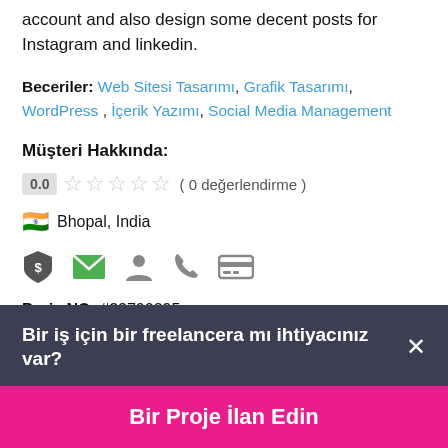account and also design some decent posts for Instagram and linkedin.
Beceriler: Web Sitesi Tasarımı, Grafik Tasarımı, WordPress , İçerik Yazımı, Social Media Management
Müşteri Hakkında:
0.0 ☆☆☆☆☆ ( 0 değerlendirme )
🇮🇳 Bhopal, India
[Figure (infographic): Row of 5 icons: shield with dollar sign, green envelope, person silhouette, phone handset, credit card]
Proje NO: #33700295
Bir iş için bir freelancera mı ihtiyacınız var? ×
Bir Proje İlan Edin